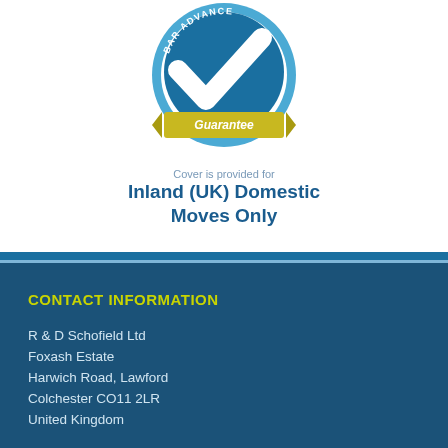[Figure (logo): BAR Advance Guarantee circular badge with blue checkmark and gold/yellow ribbon reading 'Guarantee']
Cover is provided for
Inland (UK) Domestic Moves Only
CONTACT INFORMATION
R & D Schofield Ltd
Foxash Estate
Harwich Road, Lawford
Colchester CO11 2LR
United Kingdom